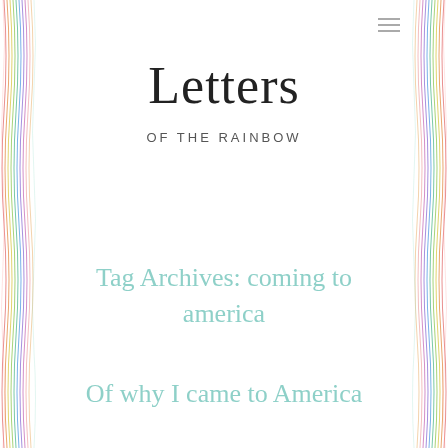[Figure (illustration): Rainbow-colored vertical wavy lines forming a decorative border on the left and right sides of the page]
Letters
of the Rainbow
Tag Archives: coming to america
Of why I came to America